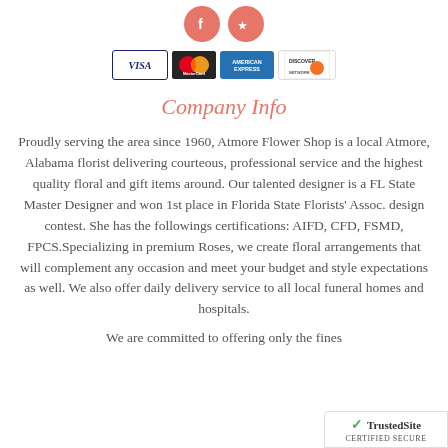[Figure (other): Social media icons: Facebook (pink circle with f) and Yelp (pink circle with yelp burst symbol)]
[Figure (other): Payment method logos: VISA, MasterCard, American Express, Discover]
Company Info
Proudly serving the area since 1960, Atmore Flower Shop is a local Atmore, Alabama florist delivering courteous, professional service and the highest quality floral and gift items around. Our talented designer is a FL State Master Designer and won 1st place in Florida State Florists' Assoc. design contest. She has the followings certifications: AIFD, CFD, FSMD, FPCS.Specializing in premium Roses, we create floral arrangements that will complement any occasion and meet your budget and style expectations as well. We also offer daily delivery service to all local funeral homes and hospitals.
We are committed to offering only the fines…
[Figure (logo): TrustedSite CERTIFIED SECURE badge with green checkmark]